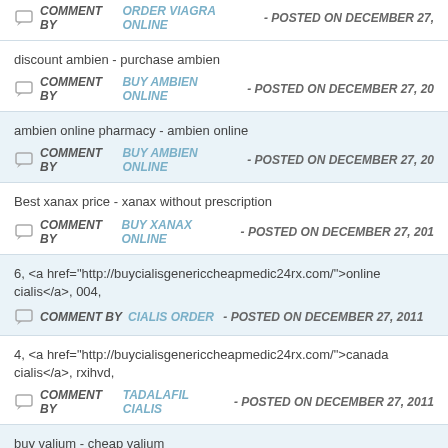COMMENT BY ORDER VIAGRA ONLINE - POSTED ON DECEMBER 27,
discount ambien - purchase ambien
COMMENT BY BUY AMBIEN ONLINE - POSTED ON DECEMBER 27, 20
ambien online pharmacy - ambien online
COMMENT BY BUY AMBIEN ONLINE - POSTED ON DECEMBER 27, 20
Best xanax price - xanax without prescription
COMMENT BY BUY XANAX ONLINE - POSTED ON DECEMBER 27, 201
6, <a href="http://buycialisgenericcheapmedic24rx.com/">online cialis</a>, 004,
COMMENT BY CIALIS ORDER - POSTED ON DECEMBER 27, 2011
4, <a href="http://buycialisgenericcheapmedic24rx.com/">canada cialis</a>, rxihvd,
COMMENT BY TADALAFIL CIALIS - POSTED ON DECEMBER 27, 2011
buy valium - cheap valium
COMMENT BY BUY VALIUM ONLINE - POSTED ON DECEMBER 27, 20